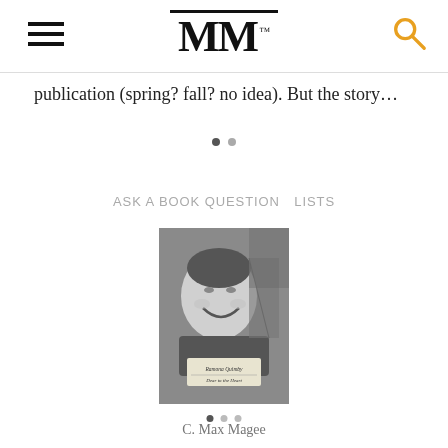MM™
publication (spring? fall? no idea). But the story…
ASK A BOOK QUESTION   LISTS
[Figure (photo): Black and white photograph of a child laughing, used as a book cover. The book appears to be 'Ramona Quimby' or similar Beverly Cleary title.]
C. Max Magee